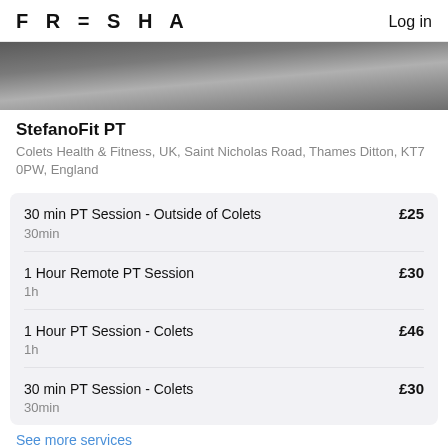FRESHA  Log in
[Figure (photo): Gym equipment photo showing a workout bench in a fitness facility]
StefanoFit PT
Colets Health & Fitness, UK, Saint Nicholas Road, Thames Ditton, KT7 0PW, England
30 min PT Session - Outside of Colets  £25  30min
1 Hour Remote PT Session  £30  1h
1 Hour PT Session - Colets  £46  1h
30 min PT Session - Colets  £30  30min
See more services